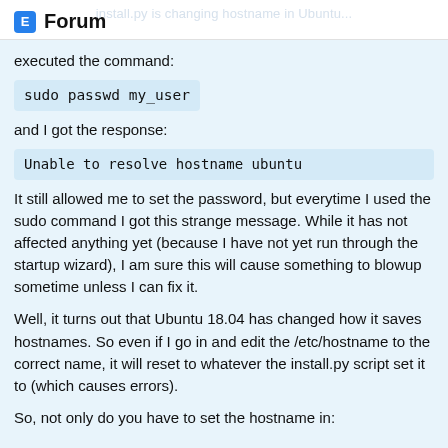install.py is changing hostname in Ubuntu...
Forum
executed the command:
sudo passwd my_user
and I got the response:
Unable to resolve hostname ubuntu
It still allowed me to set the password, but everytime I used the sudo command I got this strange message. While it has not affected anything yet (because I have not yet run through the startup wizard), I am sure this will cause something to blowup sometime unless I can fix it.
Well, it turns out that Ubuntu 18.04 has changed how it saves hostnames. So even if I go in and edit the /etc/hostname to the correct name, it will reset to whatever the install.py script set it to (which causes errors).
So, not only do you have to set the hostname in: